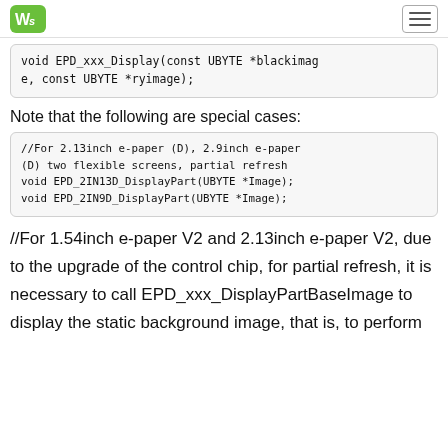WaveShare logo and menu button
void EPD_xxx_Display(const UBYTE *blackimage, const UBYTE *ryimage);
Note that the following are special cases:
//For 2.13inch e-paper (D), 2.9inch e-paper (D) two flexible screens, partial refresh
void EPD_2IN13D_DisplayPart(UBYTE *Image);
void EPD_2IN9D_DisplayPart(UBYTE *Image);
//For 1.54inch e-paper V2 and 2.13inch e-paper V2, due to the upgrade of the control chip, for partial refresh, it is necessary to call EPD_xxx_DisplayPartBaseImage to display the static background image, that is, to perform